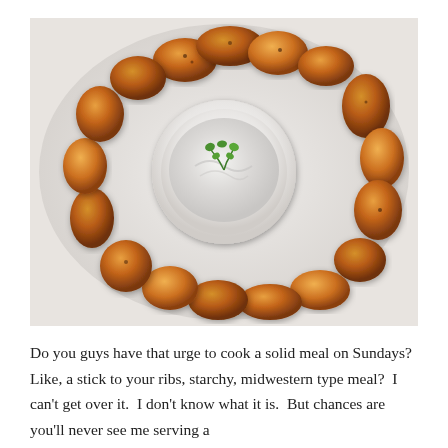[Figure (photo): Overhead photo of roasted potato halves arranged in a circle on a white plate, surrounding a white bowl filled with creamy white dip garnished with a fresh green herb (parsley). The potatoes are golden-brown and seasoned.]
Do you guys have that urge to cook a solid meal on Sundays?  Like, a stick to your ribs, starchy, midwestern type meal?  I can't get over it.  I don't know what it is.  But chances are you'll never see me serving a